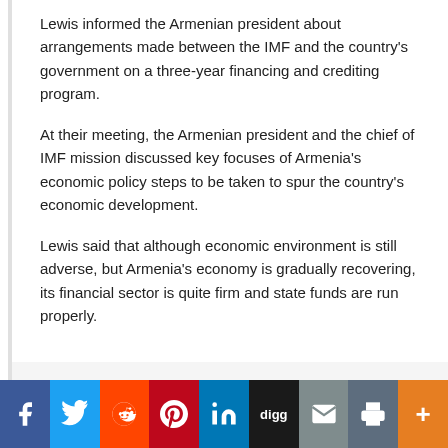Lewis informed the Armenian president about arrangements made between the IMF and the country's government on a three-year financing and crediting program.
At their meeting, the Armenian president and the chief of IMF mission discussed key focuses of Armenia's economic policy steps to be taken to spur the country's economic development.
Lewis said that although economic environment is still adverse, but Armenia's economy is gradually recovering, its financial sector is quite firm and state funds are run properly.
[Figure (infographic): Social media sharing bar with buttons for Facebook, Twitter, Reddit, Pinterest, LinkedIn, Digg, Email, Print, and More]